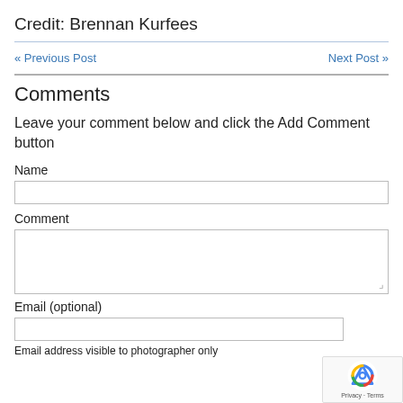Credit: Brennan Kurfees
« Previous Post
Next Post »
Comments
Leave your comment below and click the Add Comment button
Name
Comment
Email (optional)
Email address visible to photographer only